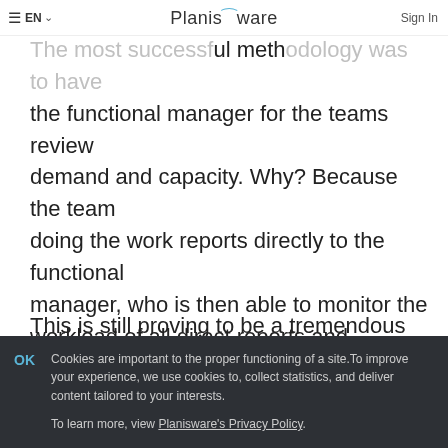Planisware | EN | Sign In
deliverable. The most successful methodology was to have the functional manager for the teams review demand and capacity. Why? Because the team doing the work reports directly to the functional manager, who is then able to monitor the workload of all direct reports and allocate work to them accordingly.
This is still proving to be a tremendous area for development across the pharmaceutical
Cookies are important to the proper functioning of a site. To improve your experience, we use cookies to, collect statistics, and deliver content tailored to your interests.

To learn more, view Planisware's Privacy Policy.